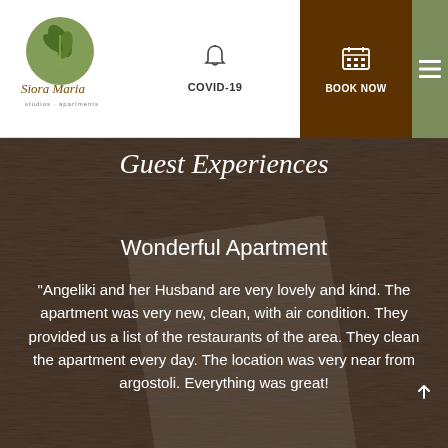[Figure (logo): Siora Maria Studios Apartments logo – circular green emblem with olive branch, brand name in brown cursive]
COVID-19
BOOK NOW
Guest Experiences
Wonderful Apartment
“Angeliki and her Husband are very lovely and kind. The apartment was very new, clean, with air condition. They provided us a list of the restaurants of the area. They clean the apartment every day. The location was very near from argostoli. Everything was great!